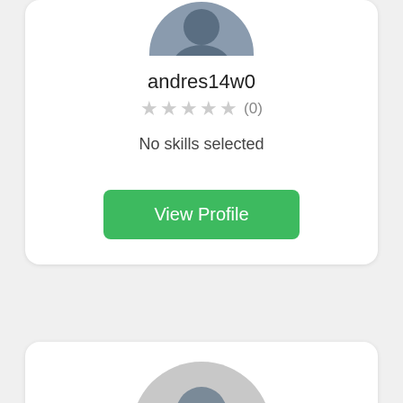[Figure (photo): User profile avatar (top portion of circular avatar with dark blue-gray silhouette) for user andres14w0]
andres14w0
★★★★★ (0)
No skills selected
View Profile
[Figure (photo): Default user profile avatar (circular, gray background with dark gray person silhouette)]